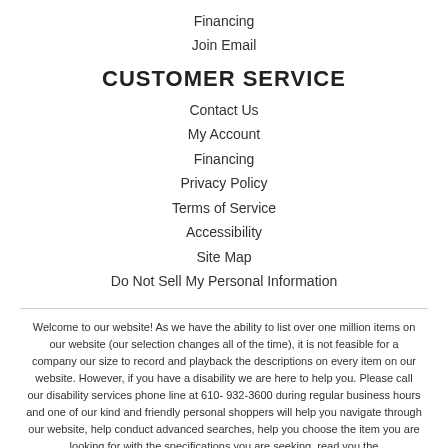Financing
Join Email
CUSTOMER SERVICE
Contact Us
My Account
Financing
Privacy Policy
Terms of Service
Accessibility
Site Map
Do Not Sell My Personal Information
Welcome to our website! As we have the ability to list over one million items on our website (our selection changes all of the time), it is not feasible for a company our size to record and playback the descriptions on every item on our website. However, if you have a disability we are here to help you. Please call our disability services phone line at 610-932-3600 during regular business hours and one of our kind and friendly personal shoppers will help you navigate through our website, help conduct advanced searches, help you choose the item you are looking for with the specifications you are seeking, read you the